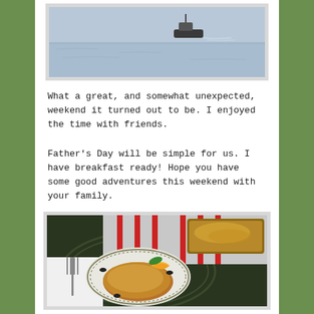[Figure (photo): A fishing boat on calm water, viewed from a distance with a pale blue-grey sky and water.]
What a great, and somewhat unexpected, weekend it turned out to be. I enjoyed the time with friends.
Father's Day will be simple for us. I have breakfast ready! Hope you have some good adventures this weekend with your family.
[Figure (photo): A plated breakfast dish showing French toast or egg casserole with an orange slice garnish and mint leaf on a decorative plate with fork, red-striped cloth and a baking dish in the background.]